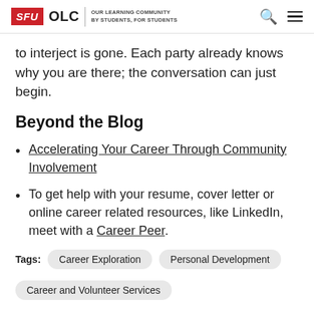SFU OLC | OUR LEARNING COMMUNITY BY STUDENTS, FOR STUDENTS
to interject is gone. Each party already knows why you are there; the conversation can just begin.
Beyond the Blog
Accelerating Your Career Through Community Involvement
To get help with your resume, cover letter or online career related resources, like LinkedIn, meet with a Career Peer.
Tags: Career Exploration  Personal Development  Career and Volunteer Services